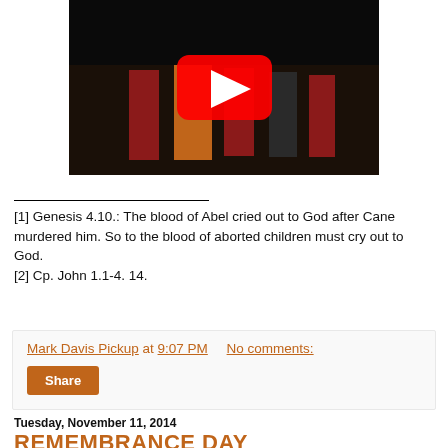[Figure (screenshot): YouTube video thumbnail showing musicians in Scottish/military attire on a stage, with a large red YouTube play button overlay on a dark background.]
[1] Genesis 4.10.: The blood of Abel cried out to God after Cane murdered him. So to the blood of aborted children must cry out to God.
[2] Cp. John 1.1-4. 14.
Mark Davis Pickup at 9:07 PM   No comments:
Share
Tuesday, November 11, 2014
REMEMBRANCE DAY